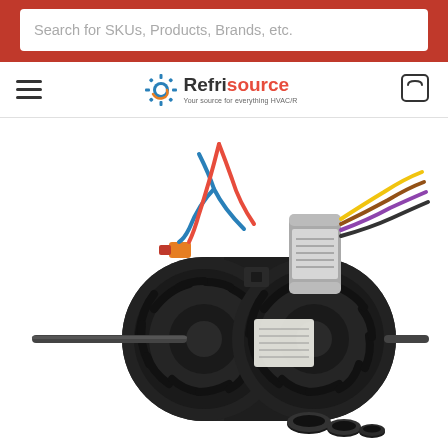Search for SKUs, Products, Brands, etc.
[Figure (logo): Refrisource logo with gear icon and tagline 'Your source for everything HVAC/R']
[Figure (photo): An electric blower/fan motor with multiple colored wires (blue, red, yellow, brown/purple) and O-ring accessories shown at the bottom right. The motor is black with a silver cylindrical capacitor mounted on top. Two shafts protrude from the motor body.]